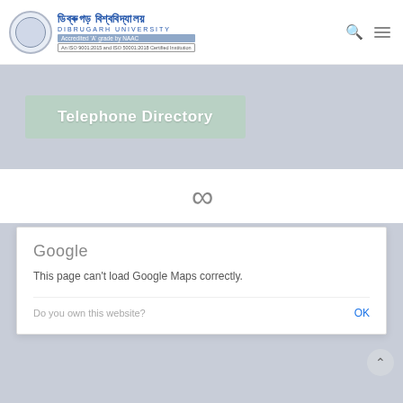Dibrugarh University — Accredited 'A' grade by NAAC — An ISO 9001:2015 and ISO 50001:2018 Certified Institution
Telephone Directory
[Figure (screenshot): Infinity/loading spinner symbol in gray]
[Figure (screenshot): Google Maps error dialog: 'This page can't load Google Maps correctly.' with 'Do you own this website?' and OK button]